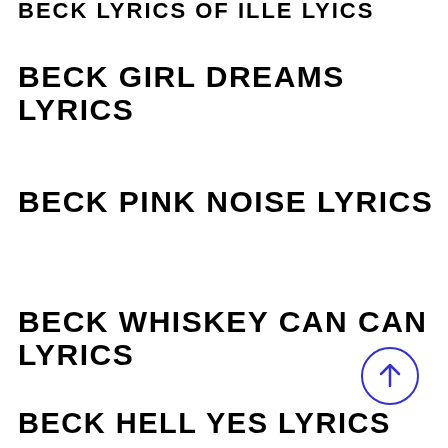BECK LYRICS (partial, cropped at top)
BECK GIRL DREAMS LYRICS
BECK PINK NOISE LYRICS
BECK WHISKEY CAN CAN LYRICS
BECK HELL YES LYRICS